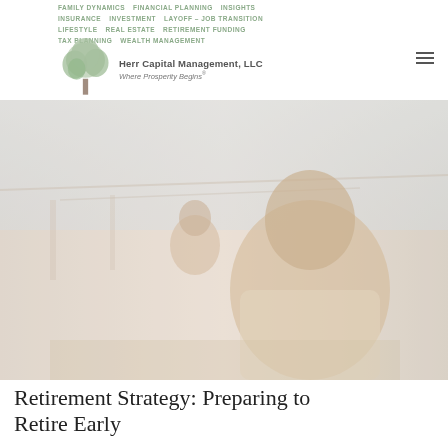FAMILY DYNAMICS   FINANCIAL PLANNING   INSIGHTS   INSURANCE   INVESTMENT   LAYOFF - JOB TRANSITION   LIFESTYLE   REAL ESTATE   RETIREMENT FUNDING   TAX PLANNING   WEALTH   Herr Capital Management, LLC   Where Prosperity Begins®
[Figure (photo): Two people relaxing in lounge chairs, eyes closed, appear to be enjoying retirement. Photo has a faded, light-washed warm tone.]
Retirement Strategy: Preparing to Retire Early